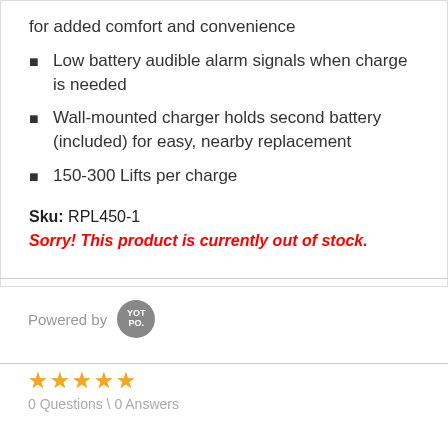for added comfort and convenience
Low battery audible alarm signals when charge is needed
Wall-mounted charger holds second battery (included) for easy, nearby replacement
150-300 Lifts per charge
Sku: RPL450-1
Sorry! This product is currently out of stock.
Powered by YOTPO
0 Questions \ 0 Answers